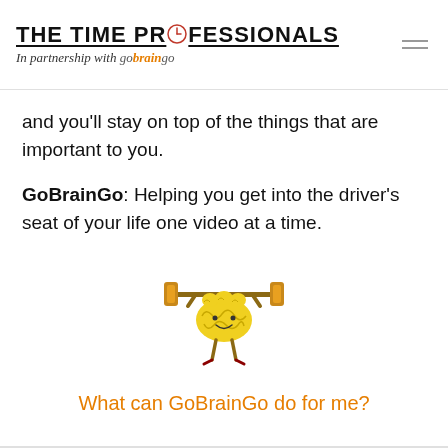THE TIME PROFESSIONALS | In partnership with goBrainGo
and you'll stay on top of the things that are important to you.
GoBrainGo: Helping you get into the driver's seat of your life one video at a time.
[Figure (illustration): Cartoon brain mascot character lifting a barbell with weights, smiling face, small stick legs]
What can GoBrainGo do for me?